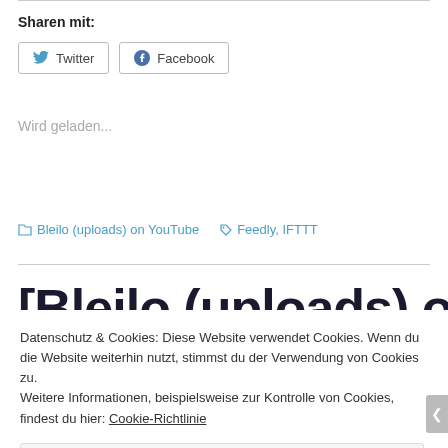Sharen mit:
[Figure (screenshot): Social sharing buttons: Twitter and Facebook]
Wird geladen...
Bleilo (uploads) on YouTube   Feedly, IFTTT
[Bleilo (uploads) on
Datenschutz & Cookies: Diese Website verwendet Cookies. Wenn du die Website weiterhin nutzt, stimmst du der Verwendung von Cookies zu.
Weitere Informationen, beispielsweise zur Kontrolle von Cookies, findest du hier: Cookie-Richtlinie
Schließen und Akzeptieren